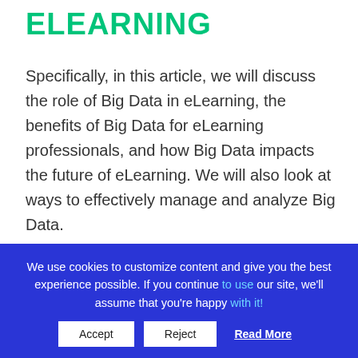ELEARNING
Specifically, in this article, we will discuss the role of Big Data in eLearning, the benefits of Big Data for eLearning professionals, and how Big Data impacts the future of eLearning. We will also look at ways to effectively manage and analyze Big Data.
BIG DATA: WHAT IS IT?
We use cookies to customize content and give you the best experience possible. If you continue to use our site, we'll assume that you're happy with it!